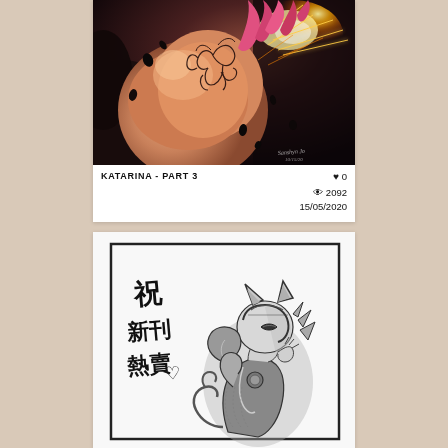[Figure (illustration): Digital artwork of Katarina from League of Legends — a close-up of a female character with pink hair, tribal tattoo on her back, surrounded by sparks and dark atmospheric background. Artist signature reads 'Sanshyn Jo' with a date.]
KATARINA - PART 3
♥ 0
👁 2092
15/05/2020
[Figure (illustration): Black and white manga/anime sketch of a cat-eared armored character (appears to be a fantasy warrior), with Chinese text on the left side reading '祝新刊熱賣♡' (Congratulations on the new volume's hot sales). The character is crouching/curled in a framed panel.]